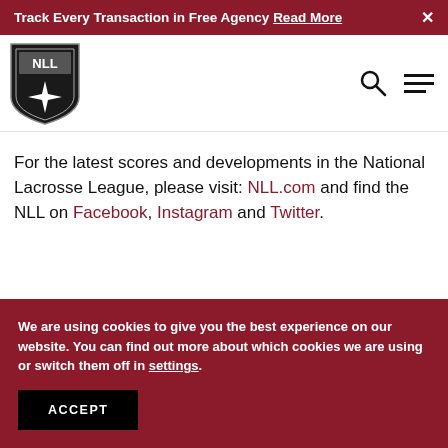Track Every Transaction in Free Agency Read More ×
[Figure (logo): NLL National Lacrosse League shield logo with white star/cross design on black background]
For the latest scores and developments in the National Lacrosse League, please visit: NLL.com and find the NLL on Facebook, Instagram and Twitter.
We are using cookies to give you the best experience on our website. You can find out more about which cookies we are using or switch them off in settings.
ACCEPT